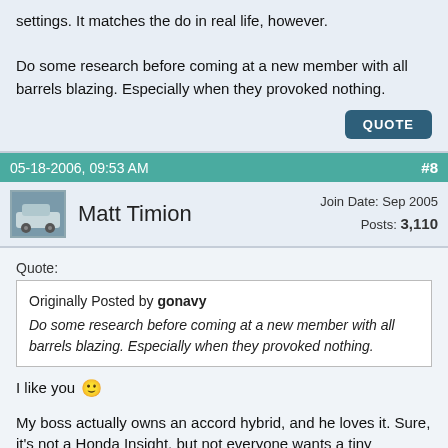settings. It matches the do in real life, however.

Do some research before coming at a new member with all barrels blazing. Especially when they provoked nothing.
QUOTE
05-18-2006, 09:53 AM   #8
Matt Timion   Join Date: Sep 2005   Posts: 3,110
Quote:
Originally Posted by gonavy
Do some research before coming at a new member with all barrels blazing. Especially when they provoked nothing.
I like you 🙂
My boss actually owns an accord hybrid, and he loves it. Sure, it's not a Honda Insight, but not everyone wants a tiny microcar as their daily driver.
From where I sit those Accords are NIIICE! Luxury to the max. Maybe